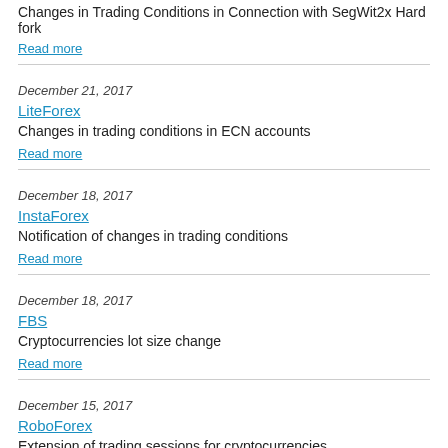Changes in Trading Conditions in Connection with SegWit2x Hard fork
Read more
December 21, 2017
LiteForex
Changes in trading conditions in ECN accounts
Read more
December 18, 2017
InstaForex
Notification of changes in trading conditions
Read more
December 18, 2017
FBS
Cryptocurrencies lot size change
Read more
December 15, 2017
RoboForex
Extension of trading sessions for cryptocurrencies